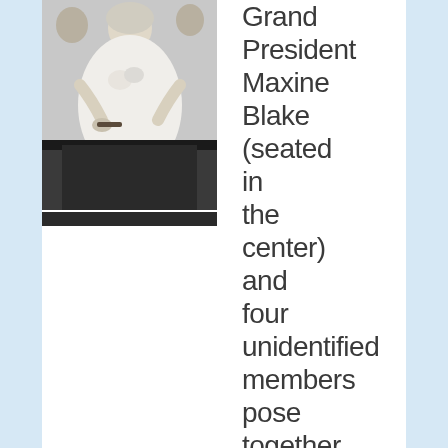[Figure (photo): Black and white photograph of a woman in a formal dress seated at what appears to be an event, holding something, with other people partially visible behind her]
Grand President Maxine Blake (seated in the center) and four unidentified members pose together at the 25th anniversary celebration for Gamma